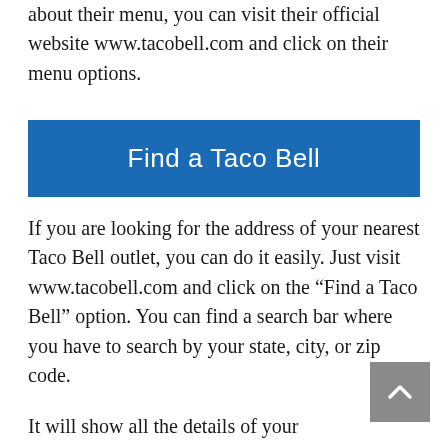about their menu, you can visit their official website www.tacobell.com and click on their menu options.
Find a Taco Bell
If you are looking for the address of your nearest Taco Bell outlet, you can do it easily. Just visit www.tacobell.com and click on the “Find a Taco Bell” option. You can find a search bar where you have to search by your state, city, or zip code.
It will show all the details of your